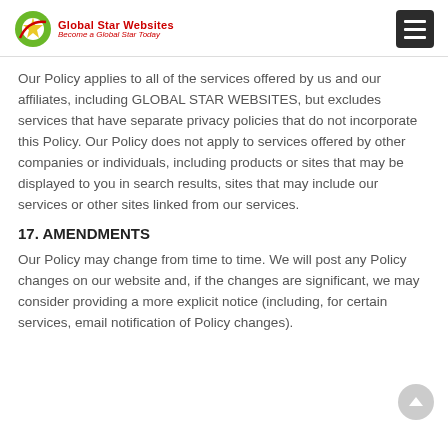Global Star Websites — Become a Global Star Today
Our Policy applies to all of the services offered by us and our affiliates, including GLOBAL STAR WEBSITES, but excludes services that have separate privacy policies that do not incorporate this Policy. Our Policy does not apply to services offered by other companies or individuals, including products or sites that may be displayed to you in search results, sites that may include our services or other sites linked from our services.
17. AMENDMENTS
Our Policy may change from time to time. We will post any Policy changes on our website and, if the changes are significant, we may consider providing a more explicit notice (including, for certain services, email notification of Policy changes).